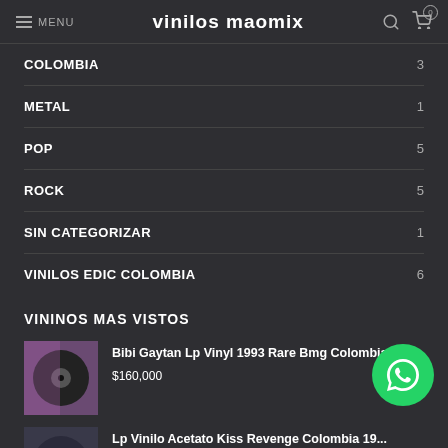≡ MENU | vinilos maomix | 🔍 🛒 0
COLOMBIA 3
METAL 1
POP 5
ROCK 5
SIN CATEGORIZAR 1
VINILOS EDIC COLOMBIA 6
VININOS MAS VISTOS
Bibi Gaytan Lp Vinyl 1993 Rare Bmg Colombia
$160,000
Lp Vinilo Acetato Kiss Revenge Colombia 19... God Gave Rock 'N' Roll To You II